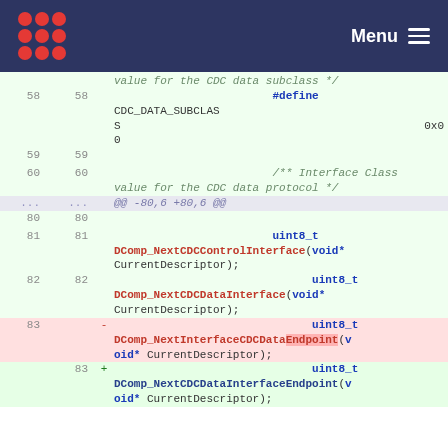Menu
value for the CDC data subclass */
58  58    #define CDC_DATA_SUBCLASS  0x00
59  59
60  60    /** Interface Class value for the CDC data protocol */
... ...    @@ -80,6 +80,6 @@
80  80
81  81    uint8_t DComp_NextCDCControlInterface(void* CurrentDescriptor);
82  82    uint8_t DComp_NextCDCDataInterface(void* CurrentDescriptor);
83  -  uint8_t DComp_NextInterfaceCDCDataEndpoint(void* CurrentDescriptor);
83  +  uint8_t DComp_NextCDCDataInterfaceEndpoint(void* CurrentDescriptor);